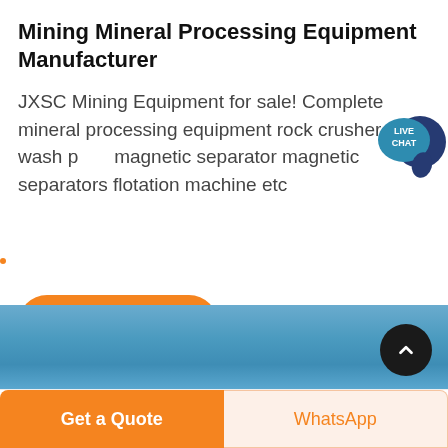Mining Mineral Processing Equipment Manufacturer
JXSC Mining Equipment for sale! Complete mineral processing equipment rock crusher gold wash plant magnetic separator magnetic separators flotation machine etc
[Figure (illustration): Live chat speech bubble icon with dark blue circle overlay, teal background circle with LIVE CHAT text in white]
[Figure (other): Orange rounded rectangle Get price button]
[Figure (photo): Light blue gradient banner/image area]
[Figure (other): Black circular scroll-to-top button with white upward chevron arrow]
[Figure (other): Bottom navigation bar with orange Get a Quote button on left and peach WhatsApp button on right]